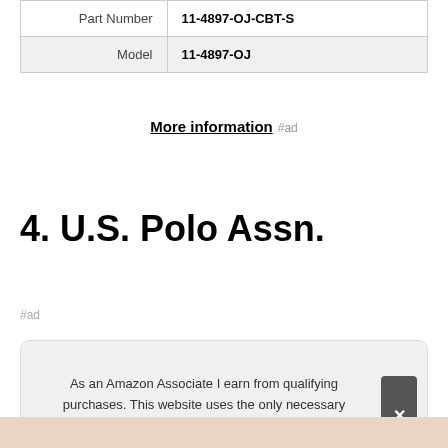|  |  |
| --- | --- |
| Part Number | 11-4897-OJ-CBT-S |
| Model | 11-4897-OJ |
More information #ad
4. U.S. Polo Assn.
#ad
As an Amazon Associate I earn from qualifying purchases. This website uses the only necessary cookies to ensure you get the best experience on our website. More information